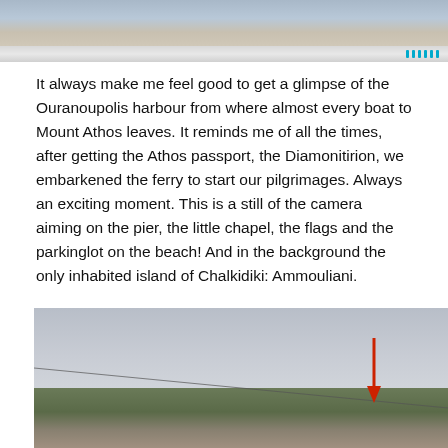[Figure (photo): Top portion of a photo showing a harbour scene, partially cropped. Below it is a grey scrollbar/navigation bar with cyan/teal vertical lines on the right side.]
It always make me feel good to get a glimpse of the Ouranoupolis harbour from where almost every boat to Mount Athos leaves. It reminds me of all the times, after getting the Athos passport, the Diamonitirion, we embarkened the ferry to start our pilgrimages. Always an exciting moment. This is a still of the camera aiming on the pier, the little chapel, the flags and the parkinglot on the beach! And in the background the only inhabited island of Chalkidiki: Ammouliani.
[Figure (photo): A panoramic outdoor photo showing a grey overcast sky, trees, and buildings at the bottom. A red arrow points downward toward a small flag or sign among the trees.]